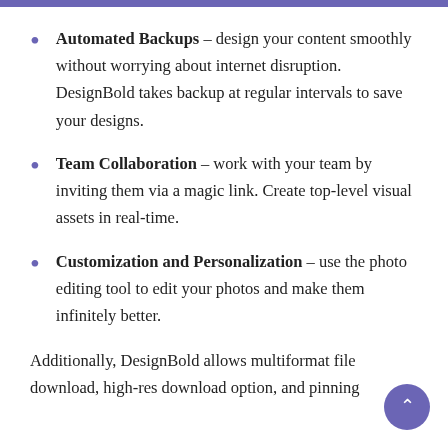Automated Backups – design your content smoothly without worrying about internet disruption. DesignBold takes backup at regular intervals to save your designs.
Team Collaboration – work with your team by inviting them via a magic link. Create top-level visual assets in real-time.
Customization and Personalization – use the photo editing tool to edit your photos and make them infinitely better.
Additionally, DesignBold allows multiformat file download, high-res download option, and pinning